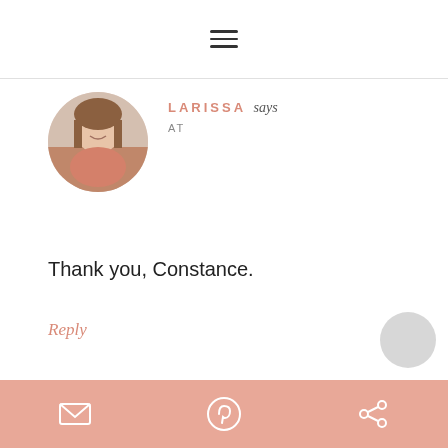≡ (hamburger menu icon)
LARISSA says
AT
[Figure (photo): Circular avatar photo of Larissa, a smiling woman with long hair wearing a pink top]
Thank you, Constance.
Reply
[Figure (illustration): Partial circular avatar for Terri Hughes, showing a blue geometric diamond/snowflake pattern on white background]
Terri Hughes says
Social sharing bar with email, Pinterest, and share icons